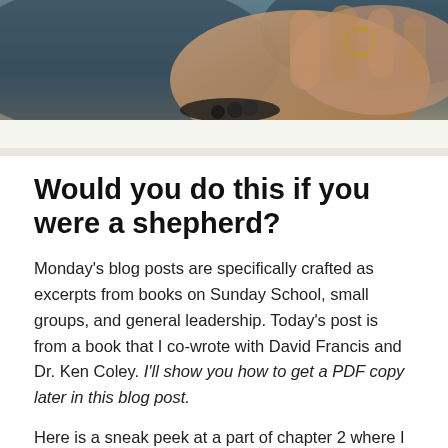[Figure (photo): Close-up photo of a person's hand holding or touching something, with blurred dark background. Appears to show a weathered or aged hand.]
Would you do this if you were a shepherd?
Monday's blog posts are specifically crafted as excerpts from books on Sunday School, small groups, and general leadership. Today's post is from a book that I co-wrote with David Francis and Dr. Ken Coley. I'll show you how to get a PDF copy later in this blog post.
Here is a sneak peek at a part of chapter 2 where I made comments on a verse from the book of Amos. Amos was a shepherd, and the book, Shepherd: Creating Caring Communities...